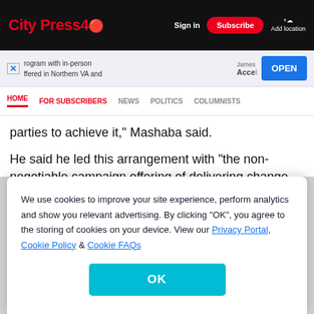City Press 40 | Sign in | Subscribe | Add location
[Figure (screenshot): Advertisement banner with text 'rogram with in-person ffered in Northern VA and', James Accel text, and OPEN button]
HOME | FOR SUBSCRIBERS | NEWS | POLITICS | COLUMNISTS
parties to achieve it," Mashaba said.
He said he led this arrangement with “the non-negotiable campaign offering of delivering change that stops
We use cookies to improve your site experience, perform analytics and show you relevant advertising. By clicking “OK”, you agree to the storing of cookies on your device. View our Privacy Portal, Cookie Policy & Cookie FAQs
OK